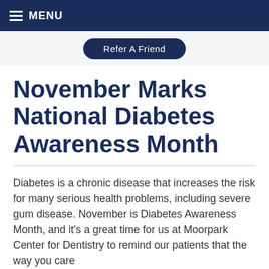MENU
Refer A Friend
November Marks National Diabetes Awareness Month
Diabetes is a chronic disease that increases the risk for many serious health problems, including severe gum disease. November is Diabetes Awareness Month, and it’s a great time for us at Moorpark Center for Dentistry to remind our patients that the way you care